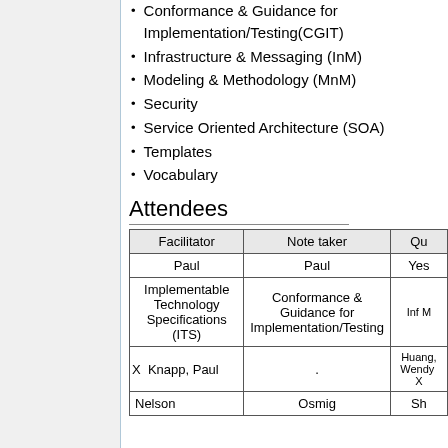Conformance & Guidance for Implementation/Testing(CGIT)
Infrastructure & Messaging (InM)
Modeling & Methodology (MnM)
Security
Service Oriented Architecture (SOA)
Templates
Vocabulary
Attendees
| Facilitator | Note taker | Qu... |
| --- | --- | --- |
| Paul | Paul | Yes... |
| Implementable Technology Specifications (ITS) | Conformance & Guidance for Implementation/Testing | Inf... Mo... |
| X  Knapp, Paul | . | Huang, Wendy  X |
| Nelson... | Osmig... | Sh... |